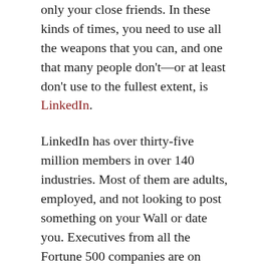only your close friends. In these kinds of times, you need to use all the weapons that you can, and one that many people don't—or at least don't use to the fullest extent, is LinkedIn.
LinkedIn has over thirty-five million members in over 140 industries. Most of them are adults, employed, and not looking to post something on your Wall or date you. Executives from all the Fortune 500 companies are on LinkedIn. Most have disclosed what they do, where they work now, and where they've worked in the past. Talk about a target-rich environment, and the service is free.
Here are ten tips to help use LinkedIn to find a job. If you know someone who's looking for a job, forward them these tips along with an